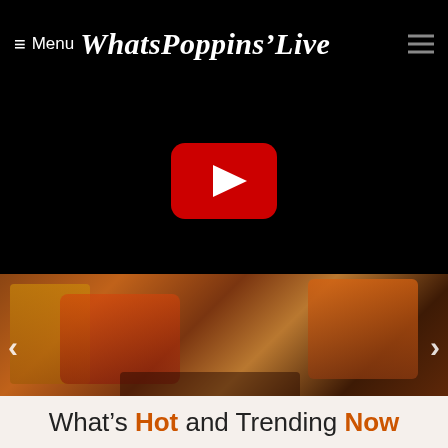≡ Menu WhatsPoppinLive
[Figure (screenshot): Black video player area with YouTube play button in center]
[Figure (photo): Slider image showing performer in decorative costume with text overlay 'I need your Touch, Come Play!' and pagination dots below]
What's Hot and Trending Now